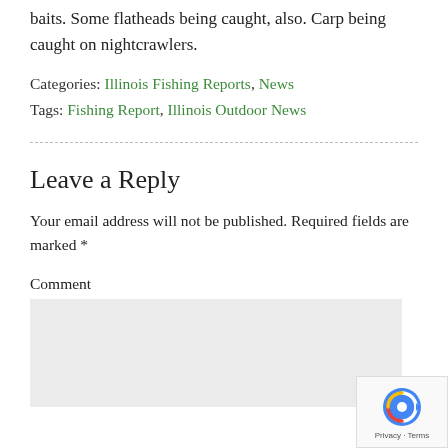baits. Some flatheads being caught, also. Carp being caught on nightcrawlers.
Categories: Illinois Fishing Reports, News
Tags: Fishing Report, Illinois Outdoor News
Leave a Reply
Your email address will not be published. Required fields are marked *
Comment
[Figure (other): reCAPTCHA badge with Privacy and Terms links]